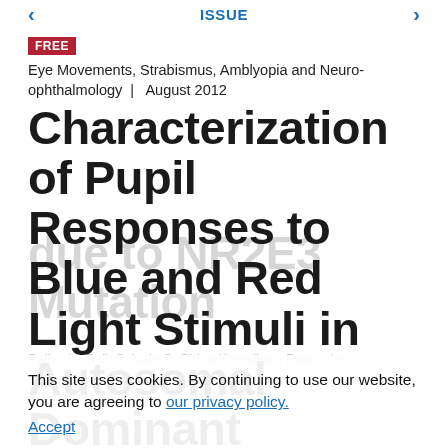< ISSUE >
FREE
Eye Movements, Strabismus, Amblyopia and Neuro-ophthalmology  |   August 2012
Characterization of Pupil Responses to Blue and Red Light Stimuli in Autosomal Dominant Retinitis Pigmentosa
due to NR2E3 Mutation
This site uses cookies. By continuing to use our website, you are agreeing to our privacy policy. Accept